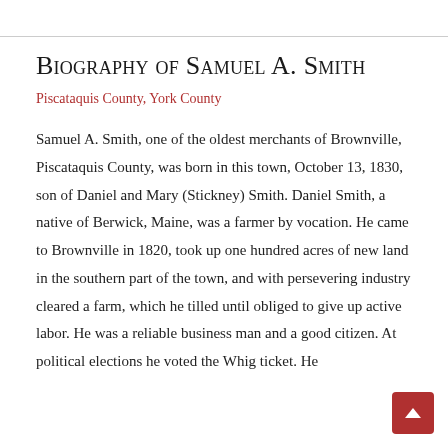Biography of Samuel A. Smith
Piscataquis County, York County
Samuel A. Smith, one of the oldest merchants of Brownville, Piscataquis County, was born in this town, October 13, 1830, son of Daniel and Mary (Stickney) Smith. Daniel Smith, a native of Berwick, Maine, was a farmer by vocation. He came to Brownville in 1820, took up one hundred acres of new land in the southern part of the town, and with persevering industry cleared a farm, which he tilled until obliged to give up active labor. He was a reliable business man and a good citizen. At political elections he voted the Whig ticket. He